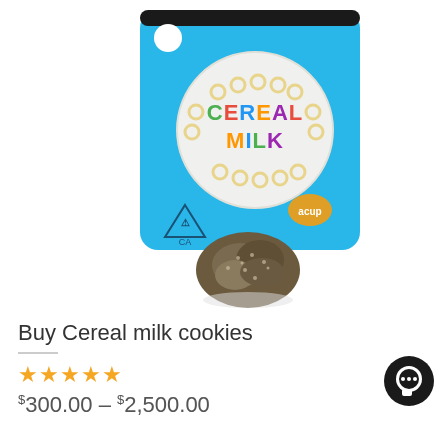[Figure (photo): Product photo of a Cereal Milk cannabis strain showing a blue mylar bag with 'CEREAL MILK' branding on a bowl graphic, alongside a cannabis flower bud in the foreground on a white background.]
Buy Cereal milk cookies
[Figure (other): Five gold/yellow star rating icons]
$300.00 – $2,500.00
[Figure (other): Black circular chat/message button icon in bottom right corner]